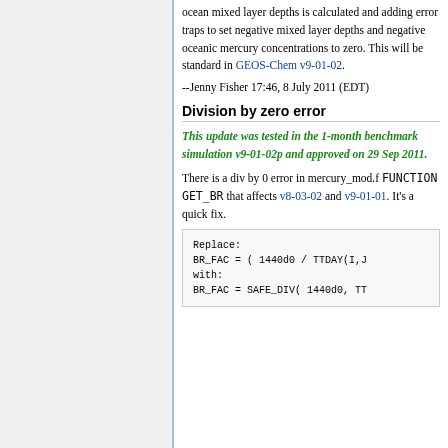ocean mixed layer depths is calculated and adding error traps to set negative mixed layer depths and negative oceanic mercury concentrations to zero. This will be standard in GEOS-Chem v9-01-02.
--Jenny Fisher 17:46, 8 July 2011 (EDT)
Division by zero error
This update was tested in the 1-month benchmark simulation v9-01-02p and approved on 29 Sep 2011.
There is a div by 0 error in mercury_mod.f FUNCTION GET_BR that affects v8-03-02 and v9-01-01. It's a quick fix.
Replace:
BR_FAC = ( 1440d0 / TTDAY(I,J
with:
BR_FAC = SAFE_DIV( 1440d0, TT